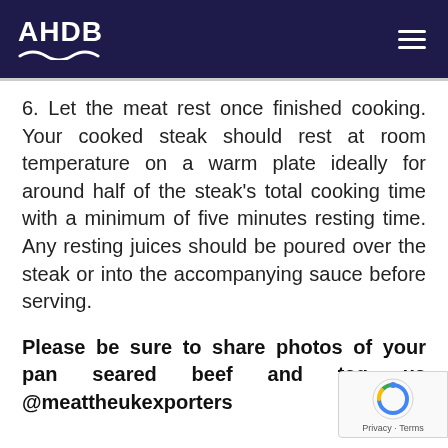AHDB
6. Let the meat rest once finished cooking. Your cooked steak should rest at room temperature on a warm plate ideally for around half of the steak's total cooking time with a minimum of five minutes resting time. Any resting juices should be poured over the steak or into the accompanying sauce before serving.
Please be sure to share photos of your pan seared beef and tag us @meattheukexporters